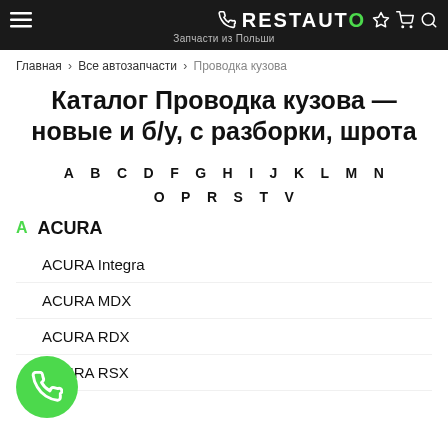RESTAUTO — Запчасти из Польши
Главная > Все автозапчасти > Проводка кузова
Каталог Проводка кузова — новые и б/у, с разборки, шрота
A B C D F G H I J K L M N O P R S T V
A ACURA
ACURA Integra
ACURA MDX
ACURA RDX
ACURA RSX